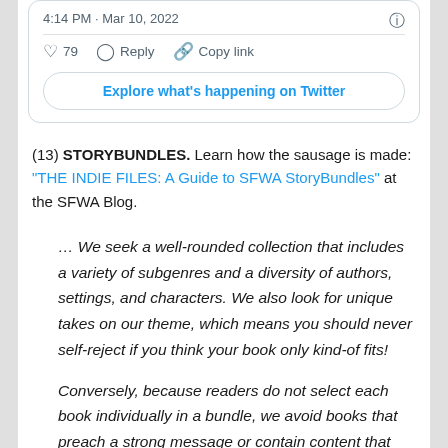[Figure (screenshot): Twitter/X tweet card showing timestamp '4:14 PM · Mar 10, 2022', like count 79, Reply, Copy link actions, and 'Explore what's happening on Twitter' button]
(13) STORYBUNDLES. Learn how the sausage is made: "THE INDIE FILES: A Guide to SFWA StoryBundles" at the SFWA Blog.
… We seek a well-rounded collection that includes a variety of subgenres and a diversity of authors, settings, and characters. We also look for unique takes on our theme, which means you should never self-reject if you think your book only kind-of fits!
Conversely, because readers do not select each book individually in a bundle, we avoid books that preach a strong message or contain content that many readers may find disturbing. Those